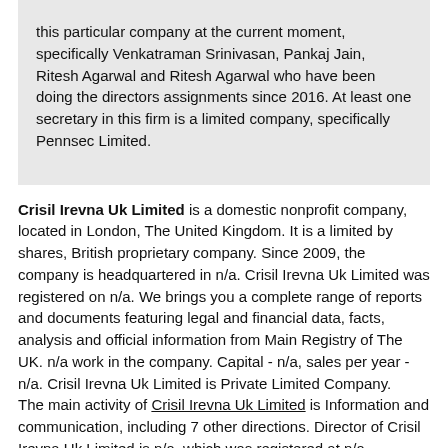this particular company at the current moment, specifically Venkatraman Srinivasan, Pankaj Jain, Ritesh Agarwal and Ritesh Agarwal who have been doing the directors assignments since 2016. At least one secretary in this firm is a limited company, specifically Pennsec Limited.
Crisil Irevna Uk Limited is a domestic nonprofit company, located in London, The United Kingdom. It is a limited by shares, British proprietary company. Since 2009, the company is headquartered in n/a. Crisil Irevna Uk Limited was registered on n/a. We brings you a complete range of reports and documents featuring legal and financial data, facts, analysis and official information from Main Registry of The UK. n/a work in the company. Capital - n/a, sales per year - n/a. Crisil Irevna Uk Limited is Private Limited Company. The main activity of Crisil Irevna Uk Limited is Information and communication, including 7 other directions. Director of Crisil Irevna Uk Limited is n/a, which was registered at n/a.